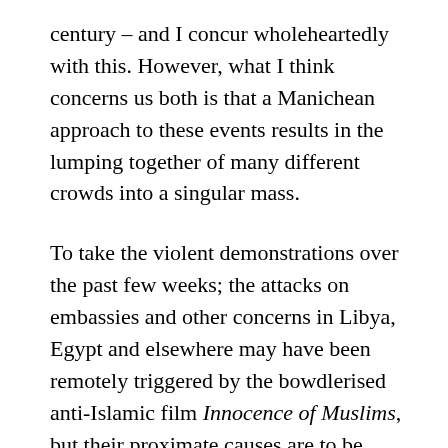century – and I concur wholeheartedly with this. However, what I think concerns us both is that a Manichean approach to these events results in the lumping together of many different crowds into a singular mass.

To take the violent demonstrations over the past few weeks; the attacks on embassies and other concerns in Libya, Egypt and elsewhere may have been remotely triggered by the bowdlerised anti-Islamic film Innocence of Muslims, but their proximate causes are to be found in very different local cocktails of corruption, sectarianism and deprivation. These are people for whom freedom of speech is beside the point: for each in their...